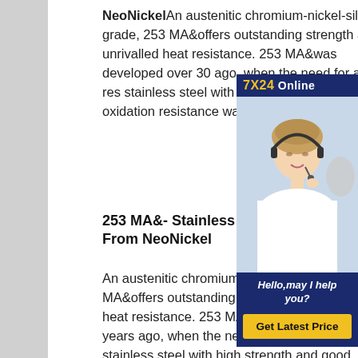NeoNickelAn austenitic chromium-nickel-silicon grade, 253 MA&offers outstanding strength and unrivalled heat resistance. 253 MA&was developed over 30 ago, when the need for a heat res stainless steel with high strength good oxidation resistance was re the industry.
[Figure (infographic): Customer service agent advertisement with headset-wearing woman, '7X24 Online' header, 'Hello,may I help you?' message, and 'Get Latest Price' button on dark navy blue background.]
253 MA&- Stainless Steels Available From NeoNickel
An austenitic chromium-nickel-silicon grade, 253 MA&offers outstanding strength and unrivalled heat resistance. 253 MA&was developed over 30 years ago, when the need for a heat resistant stainless steel with high strength and good oxidation resistance was recog in